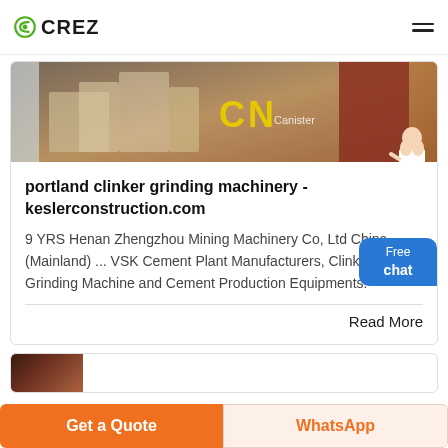CREZ
[Figure (photo): Industrial machinery photo with CN Canister branding visible in yellow text on machinery]
portland clinker grinding machinery - keslerconstruction.com
9 YRS Henan Zhengzhou Mining Machinery Co, Ltd China (Mainland) ... VSK Cement Plant Manufacturers, Clinker Grinding Machine and Cement Production Equipments.
Read More
[Figure (photo): Partial view of a second card image showing dark brown industrial content]
Get a Quote
WhatsApp